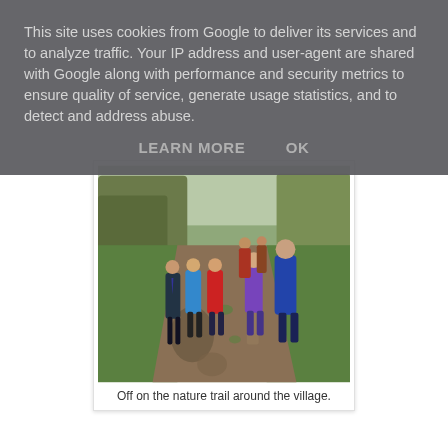This site uses cookies from Google to deliver its services and to analyze traffic. Your IP address and user-agent are shared with Google along with performance and security metrics to ensure quality of service, generate usage statistics, and to detect and address abuse.
LEARN MORE    OK
[Figure (photo): Group of children and an adult walking along a muddy rural nature trail surrounded by green grass and hedgerows.]
Off on the nature trail around the village.